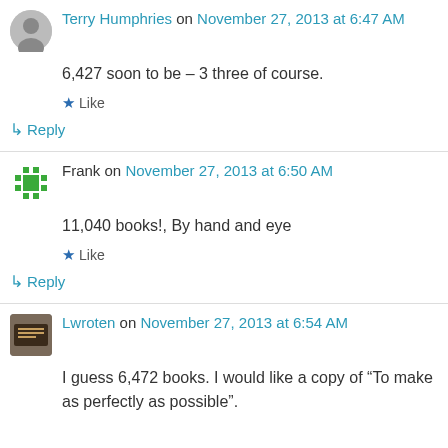Terry Humphries on November 27, 2013 at 6:47 AM
6,427 soon to be – 3 three of course.
Like
Reply
Frank on November 27, 2013 at 6:50 AM
11,040 books!, By hand and eye
Like
Reply
Lwroten on November 27, 2013 at 6:54 AM
I guess 6,472 books. I would like a copy of “To make as perfectly as possible”.